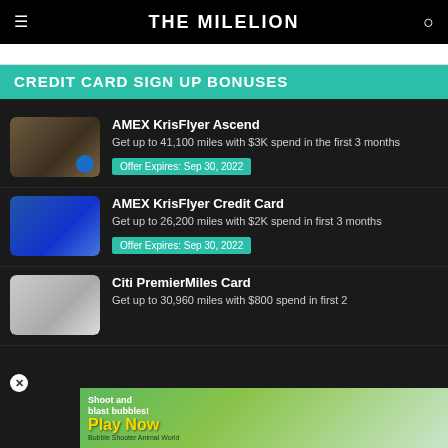THE MILELION
CREDIT CARD SIGN UP BONUSES
AMEX KrisFlyer Ascend
Get up to 41,100 miles with $3K spend in the first 3 months
Offer Expires: Sep 30, 2022
AMEX KrisFlyer Credit Card
Get up to 26,200 miles with $2K spend in first 3 months
Offer Expires: Sep 30, 2022
Citi PremierMiles Card
Get up to 30,960 miles with $800 spend in first 2